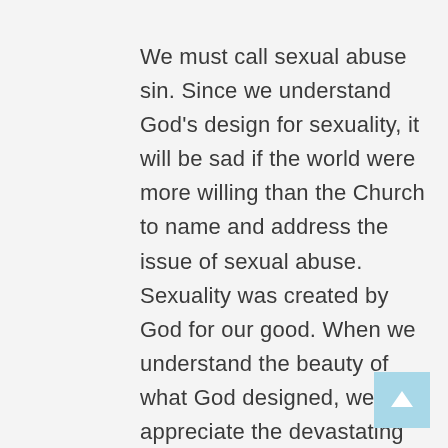We must call sexual abuse sin. Since we understand God's design for sexuality, it will be sad if the world were more willing than the Church to name and address the issue of sexual abuse. Sexuality was created by God for our good. When we understand the beauty of what God designed, we can appreciate the devastating effects of sexual abuse. We cannot ignore or cover the matter. Properly dealing with sin like this reflects what we believe about God and the Gospel. When prominent personalities in the world